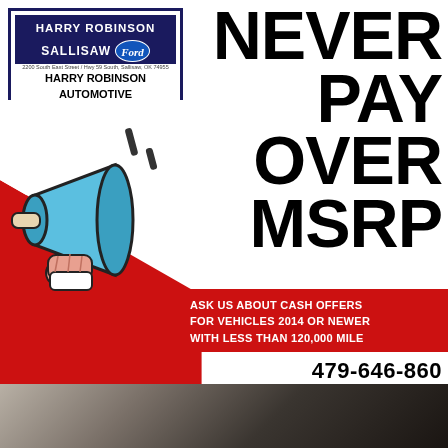[Figure (logo): Harry Robinson Sallisaw Ford / Harry Robinson Automotive Family / Harry Robinson Buick GMC dealership logo badge with dark blue and red branding]
NEVER PAY OVER MSRP
[Figure (illustration): Megaphone/bullhorn illustration with blue horn and hand holding it, with motion lines, on red and white background]
ASK US ABOUT CASH OFFERS FOR VEHICLES 2014 OR NEWER WITH LESS THAN 120,000 MILES
479-646-860
[Figure (photo): Partial photo of car interior/exterior at bottom of page]